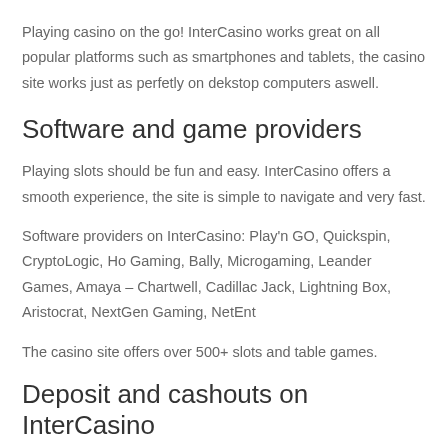Playing casino on the go! InterCasino works great on all popular platforms such as smartphones and tablets, the casino site works just as perfetly on dekstop computers aswell.
Software and game providers
Playing slots should be fun and easy. InterCasino offers a smooth experience, the site is simple to navigate and very fast.
Software providers on InterCasino: Play'n GO, Quickspin, CryptoLogic, Ho Gaming, Bally, Microgaming, Leander Games, Amaya – Chartwell, Cadillac Jack, Lightning Box, Aristocrat, NextGen Gaming, NetEnt
The casino site offers over 500+ slots and table games.
Deposit and cashouts on InterCasino